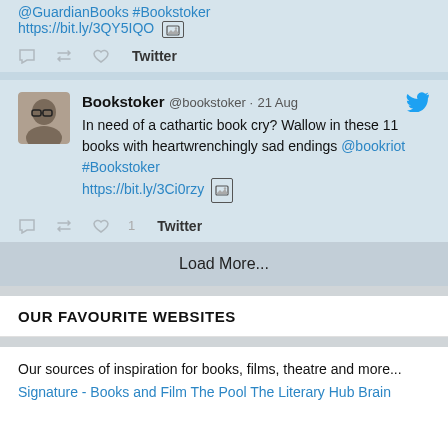@GuardianBooks #Bookstoker https://bit.ly/3QY5IQO
Twitter
Bookstoker @bookstoker · 21 Aug
In need of a cathartic book cry? Wallow in these 11 books with heartwrenchingly sad endings @bookriot #Bookstoker https://bit.ly/3Ci0rzy
1  Twitter
Load More...
OUR FAVOURITE WEBSITES
Our sources of inspiration for books, films, theatre and more...
Signature - Books and Film The Pool The Literary Hub Brain